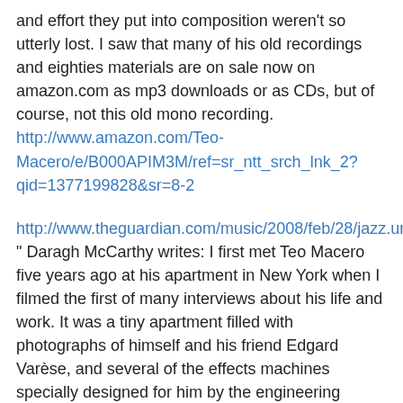and effort they put into composition weren't so utterly lost. I saw that many of his old recordings and eighties materials are on sale now on amazon.com as mp3 downloads or as CDs, but of course, not this old mono recording. http://www.amazon.com/Teo-Macero/e/B000APIM3M/ref=sr_ntt_srch_lnk_2?qid=1377199828&sr=8-2
http://www.theguardian.com/music/2008/feb/28/jazz.urbanmusic
" Daragh McCarthy writes: I first met Teo Macero five years ago at his apartment in New York when I filmed the first of many interviews about his life and work. It was a tiny apartment filled with photographs of himself and his friend Edgard Varèse, and several of the effects machines specially designed for him by the engineering department at CBS records. I once asked him what the key to his studio technique was. He struggled to find an answer before finally saying: "It's like E=mc squared. It's very simple really ... and then I use my ears.
In his last years Teo wrote music prolifically. He said the pain